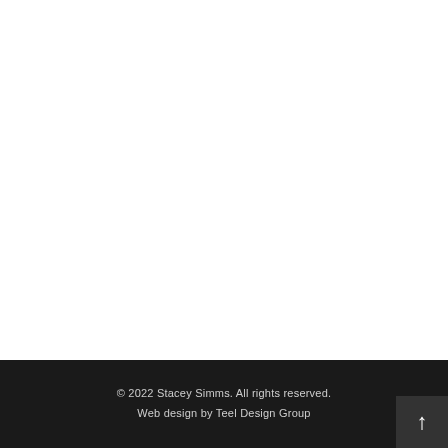© 2022 Stacey Simms. All rights reserved.
Web design by Teel Design Group